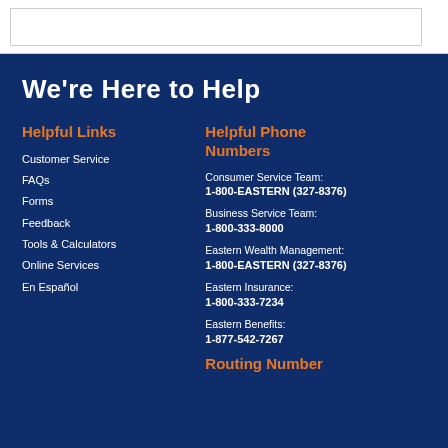We're Here to Help
Helpful Links
Customer Service
FAQs
Forms
Feedback
Tools & Calculators
Online Services
En Español
Helpful Phone Numbers
Consumer Service Team: 1-800-EASTERN (327-8376)
Business Service Team: 1-800-333-8000
Eastern Wealth Management: 1-800-EASTERN (327-8376)
Eastern Insurance: 1-800-333-7234
Eastern Benefits: 1-877-542-7267
Routing Number